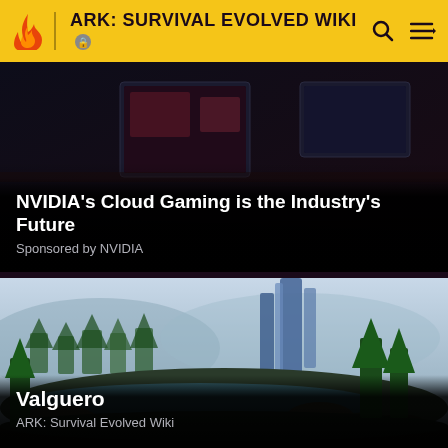ARK: SURVIVAL EVOLVED WIKI
[Figure (screenshot): NVIDIA cloud gaming promotional image showing multiple screens in a dark environment]
NVIDIA's Cloud Gaming is the Industry's Future
Sponsored by NVIDIA
[Figure (screenshot): Valguero map landscape showing a forest, river, and tall blue crystal-like obelisk structures under a misty sky]
Valguero
ARK: Survival Evolved Wiki